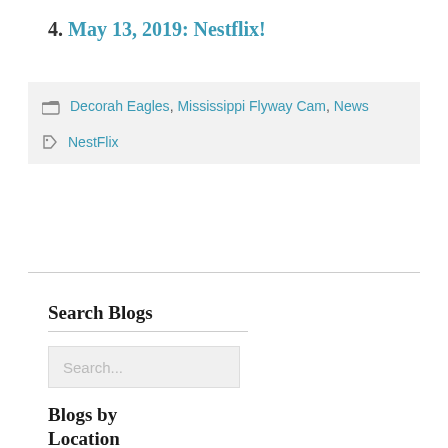4. May 13, 2019: Nestflix!
Decorah Eagles, Mississippi Flyway Cam, News
NestFlix
Search Blogs
Search...
Blogs by Location
Decorah Eagles